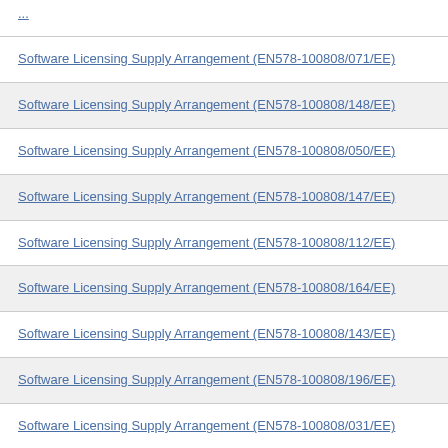Software Licensing Supply Arrangement (EN578-100808/071/EE)
Software Licensing Supply Arrangement (EN578-100808/148/EE)
Software Licensing Supply Arrangement (EN578-100808/050/EE)
Software Licensing Supply Arrangement (EN578-100808/147/EE)
Software Licensing Supply Arrangement (EN578-100808/112/EE)
Software Licensing Supply Arrangement (EN578-100808/164/EE)
Software Licensing Supply Arrangement (EN578-100808/143/EE)
Software Licensing Supply Arrangement (EN578-100808/196/EE)
Software Licensing Supply Arrangement (EN578-100808/031/EE)